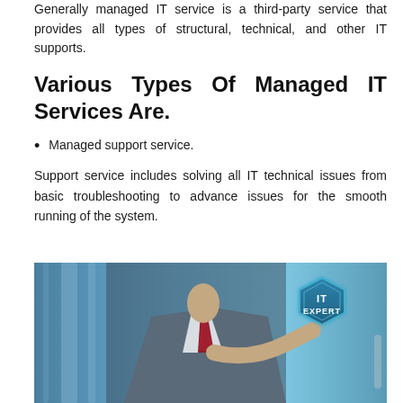Generally managed IT service is a third-party service that provides all types of structural, technical, and other IT supports.
Various Types Of Managed IT Services Are.
Managed support service.
Support service includes solving all IT technical issues from basic troubleshooting to advance issues for the smooth running of the system.
[Figure (photo): A businessman in a suit and red tie pointing at a glowing hexagonal badge labeled 'IT EXPERT' against a blurred blue office background.]